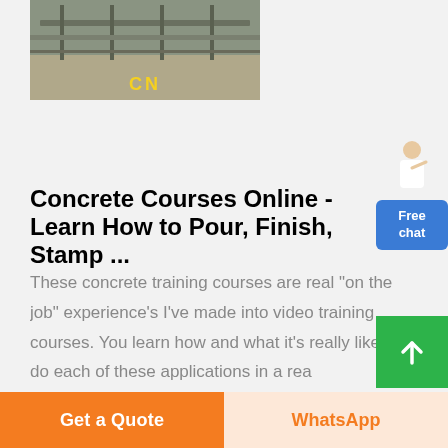[Figure (photo): Aerial or close-up photo of concrete construction site with 'CN' text label in yellow]
Concrete Courses Online - Learn How to Pour, Finish, Stamp ...
These concrete training courses are real "on the job" experience's I've made into video training courses. You learn how and what it's really like to do each of these applications in a real job like setting. Not in a controlled
[Figure (illustration): Free chat widget with person illustration and blue button labeled 'Free chat']
[Figure (other): Green scroll-to-top button with upward arrow]
Get a Quote
WhatsApp